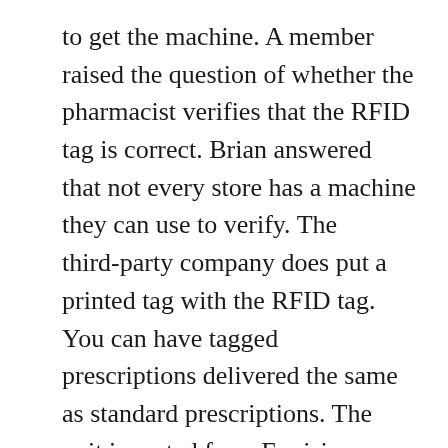to get the machine. A member raised the question of whether the pharmacist verifies that the RFID tag is correct. Brian answered that not every store has a machine they can use to verify. The third-party company does put a printed tag with the RFID tag. You can have tagged prescriptions delivered the same as standard prescriptions. The unit is rented from Envision America by the pharmacy then lent to the customer. It's valued at around $300. A member asked if the forms could be made available electronically so that we can read the consents and liabilities ourselves.
The ScripTalk takes two double A batteries, and has a power supply and headphones. It also